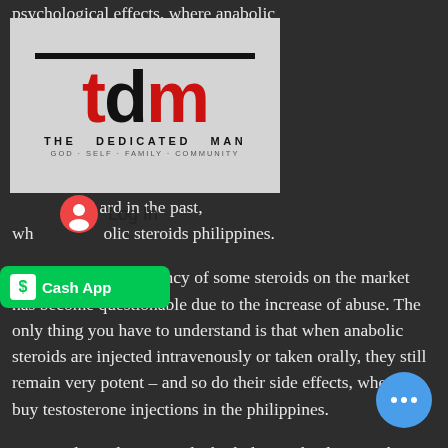psychological effects, where anabolic philippines buy to steroids.
[Figure (logo): TDM - The Dedicated Man logo with red and black lettering on gray background. Tagline: GOD · SELF · FAMILY · COMMUNITY]
ic su e more powerful ard in the past, wh olic steroids philippines.
For example, the potency of some steroids on the market has become questionable due to the increase of abuse. The only thing you have to understand is that when anabolic steroids are injected intravenously or taken orally, they still remain very potent – and so do their side effects, where to buy testosterone injections in the philippines.
[Figure (logo): Venmo logo overlay]
[Figure (logo): Cash App button overlay]
So, you don't always need a high dose – the dose can be smaller and more effective. You can get your hands on anabolic steroids from a pharmacy or from a doctor – or buy from a drugstore, steroids injection price in philippines.